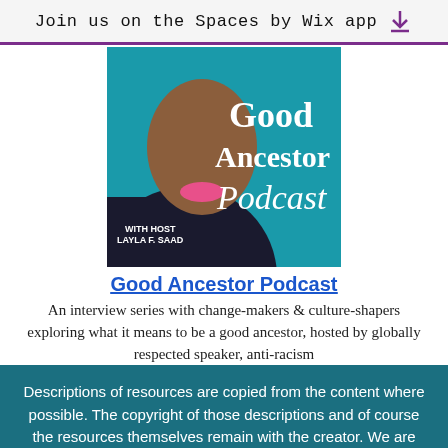Join us on the Spaces by Wix app
[Figure (photo): Podcast cover art for 'Good Ancestor Podcast with host Layla F. Saad' showing a woman's face with pink lipstick on a teal background with white text]
Good Ancestor Podcast
An interview series with change-makers & culture-shapers exploring what it means to be a good ancestor, hosted by globally respected speaker, anti-racism...
Descriptions of resources are copied from the content where possible. The copyright of those descriptions and of course the resources themselves remain with the creator. We are learning too and will inevitably make mistakes, so please let us know if you think we have represented something incorrectly or